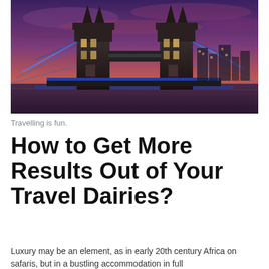[Figure (photo): Tower Bridge in London at dusk/night with purple and pink sky, illuminated with blue lights, viewed from the south bank of the Thames River]
Travelling is fun.
How to Get More Results Out of Your Travel Dairies?
Luxury may be an element, as in early 20th century Africa on safaris, but in a bustling accommodation in full